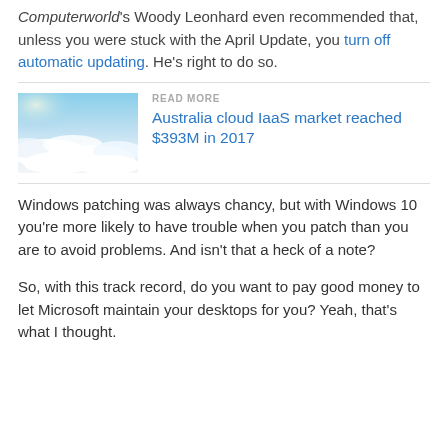Computerworld's Woody Leonhard even recommended that, unless you were stuck with the April Update, you turn off automatic updating. He's right to do so.
[Figure (photo): Aerial view photo of clouds from above against a blue sky]
READ MORE
Australia cloud IaaS market reached $393M in 2017
Windows patching was always chancy, but with Windows 10 you're more likely to have trouble when you patch than you are to avoid problems. And isn't that a heck of a note?
So, with this track record, do you want to pay good money to let Microsoft maintain your desktops for you? Yeah, that's what I thought.